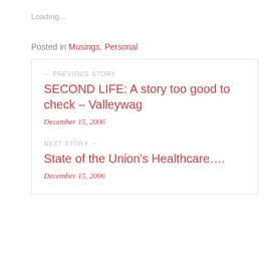Loading...
Posted in Musings, Personal
← PREVIOUS STORY
SECOND LIFE: A story too good to check – Valleywag
December 15, 2006
NEXT STORY →
State of the Union's Healthcare….
December 15, 2006